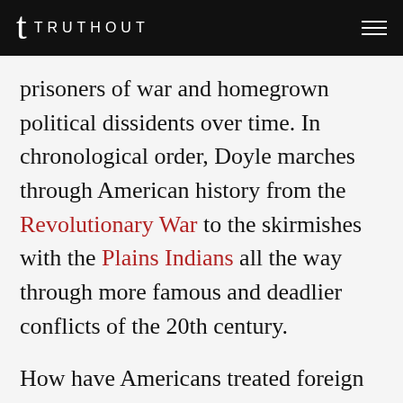TRUTHOUT
prisoners of war and homegrown political dissidents over time. In chronological order, Doyle marches through American history from the Revolutionary War to the skirmishes with the Plains Indians all the way through more famous and deadlier conflicts of the 20th century.
How have Americans treated foreign prisoners of war? In general, fairly well, if they are uniformed and have made it off the battlefield into prison camps.